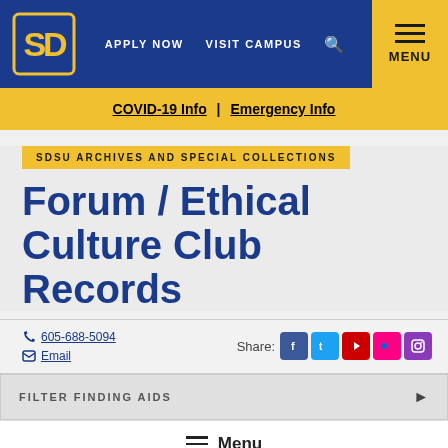[Figure (logo): SDSU Jackrabbits interlocking SD logo in gold and blue]
APPLY NOW   VISIT CAMPUS   🔍   MENU
COVID-19 Info | Emergency Info
SDSU ARCHIVES AND SPECIAL COLLECTIONS
Forum / Ethical Culture Club Records
☎ 605-688-5094
✉ Email
Share: [Facebook] [Twitter] [YouTube] [Flickr] [Instagram]
FILTER FINDING AIDS ▶
≡ Menu